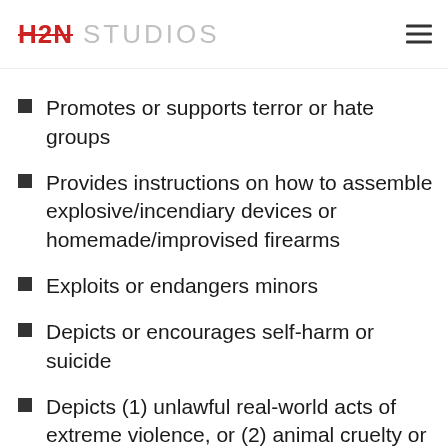Contains hateful or discriminatory speech
H2N STUDIOS
Promotes or supports terror or hate groups
Provides instructions on how to assemble explosive/incendiary devices or homemade/improvised firearms
Exploits or endangers minors
Depicts or encourages self-harm or suicide
Depicts (1) unlawful real-world acts of extreme violence, or (2) animal cruelty or extreme violence towards animals
Promotes fraudulent or dubious